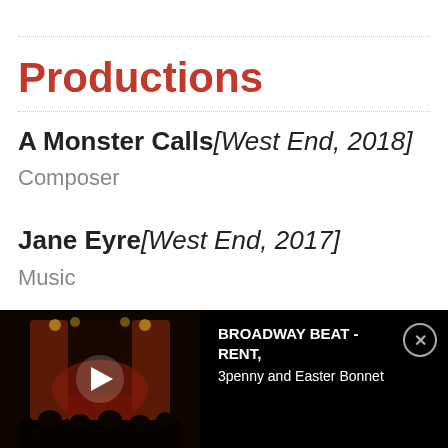Productions
A Monster Calls[West End, 2018]
Composer
Jane Eyre[West End, 2017]
Music
[Figure (screenshot): Video thumbnail showing a theater stage with red curtains and dark lighting, with a play button overlay. Beside it: 'BROADWAY BEAT - RENT, 3penny and Easter Bonnet' title text with a close button.]